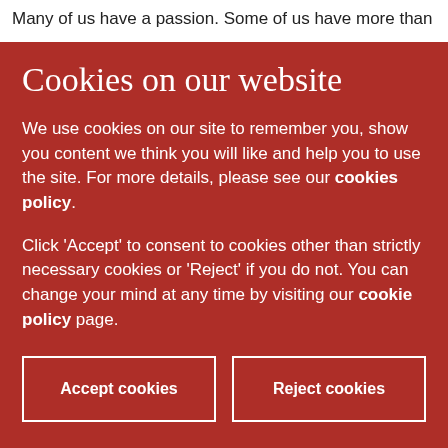Many of us have a passion. Some of us have more than
Cookies on our website
We use cookies on our site to remember you, show you content we think you will like and help you to use the site. For more details, please see our cookies policy.
Click 'Accept' to consent to cookies other than strictly necessary cookies or 'Reject' if you do not. You can change your mind at any time by visiting our cookie policy page.
Accept cookies
Reject cookies